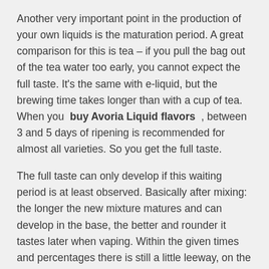Another very important point in the production of your own liquids is the maturation period. A great comparison for this is tea – if you pull the bag out of the tea water too early, you cannot expect the full taste. It's the same with e-liquid, but the brewing time takes longer than with a cup of tea. When you  buy Avoria Liquid flavors  , between 3 and 5 days of ripening is recommended for almost all varieties. So you get the full taste.
The full taste can only develop if this waiting period is at least observed. Basically after mixing: the longer the new mixture matures and can develop in the base, the better and rounder it tastes later when vaping. Within the given times and percentages there is still a little leeway, on the basis of which you can try out.
AS DIVERSE AS NOTHING